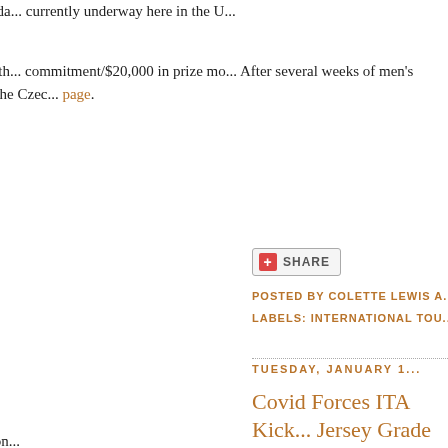UTR sent out a press release toda... currently underway here in the U...
Beginning next week in Spain, th... commitment/$20,000 in prize mo... After several weeks of men's and... Romania in April and to the Czec... page.
[Figure (other): Share button with red plus icon and SHARE text]
POSTED BY COLETTE LEWIS A...
LABELS: INTERNATIONAL TOU...
TUESDAY, JANUARY 1...
Covid Forces ITA Kick... Jersey Grade 5; Nakash... Feature
The first restructuring of this con...